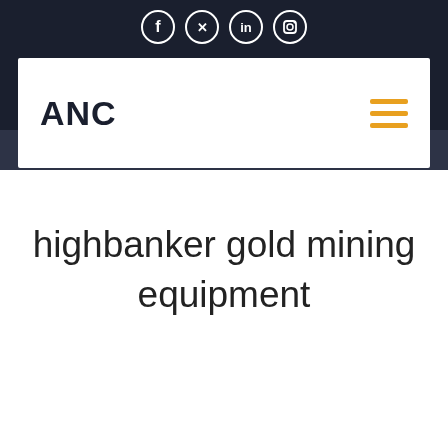[Figure (logo): ANC company logo in bold black text]
[Figure (infographic): Hamburger menu icon with three orange horizontal lines]
highbanker gold mining equipment